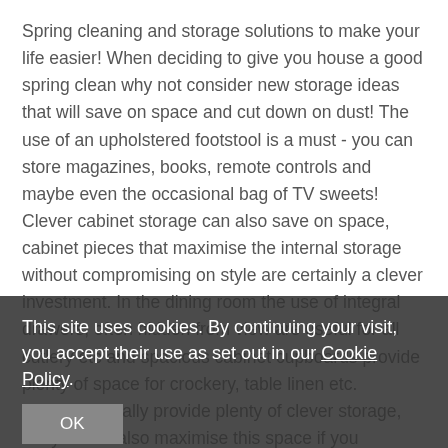Spring cleaning and storage solutions to make your life easier! When deciding to give you house a good spring clean why not consider new storage ideas that will save on space and cut down on dust! The use of an upholstered footstool is a must - you can store magazines, books, remote controls and maybe even the occasional bag of TV sweets! Clever cabinet storage can also save on space, cabinet pieces that maximise the internal storage without compromising on style are certainly a clever investment. In the dining room the use of integral drawers, often hidden from view are useful for all cutlery etc and spacious cabinet cupboards provide plenty of space for crockery, table linen etc. Kitchens usually provide plenty of clever storage, but you can also maximise this space if you regularly clear out any kitchen appliance or gadget you have not used for over a year you will never use it again - trust me! In the bedroom a bed with underneath storage is a must have! Buying a bed without storage seems a waste of space, you
This site uses cookies. By continuing your visit, you accept their use as set out in our Cookie Policy.